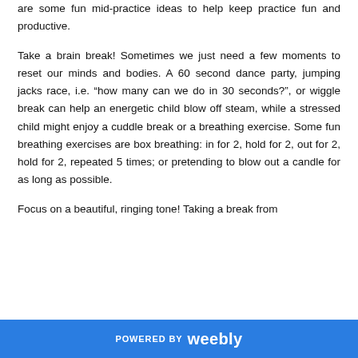are some fun mid-practice ideas to help keep practice fun and productive.
Take a brain break! Sometimes we just need a few moments to reset our minds and bodies. A 60 second dance party, jumping jacks race, i.e. “how many can we do in 30 seconds?”, or wiggle break can help an energetic child blow off steam, while a stressed child might enjoy a cuddle break or a breathing exercise. Some fun breathing exercises are box breathing: in for 2, hold for 2, out for 2, hold for 2, repeated 5 times; or pretending to blow out a candle for as long as possible.
Focus on a beautiful, ringing tone! Taking a break from
POWERED BY weebly